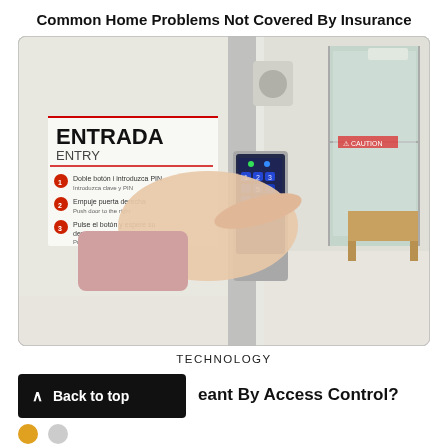Common Home Problems Not Covered By Insurance
[Figure (photo): A hand pressing buttons on a digital keypad/access control panel mounted on a door frame. The keypad has a touchscreen with illuminated blue numbered buttons. In the background, there is a bilingual sign reading 'ENTRADA ENTRY' with numbered instructions in Spanish and English. Through glass doors, an interior room with a wooden table is visible.]
TECHNOLOGY
Back to top
eant By Access Control?